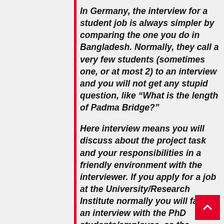In Germany, the interview for a student job is always simpler by comparing the one you do in Bangladesh. Normally, they call a very few students (sometimes one, or at most 2) to an interview and you will not get any stupid question, like “What is the length of Padma Bridge?”
Here interview means you will discuss about the project task and your responsibilities in a friendly environment with the interviewer. If you apply for a job at the University/Research Institute normally you will face an interview with the PhD students/employee, as the Professors are always busy.